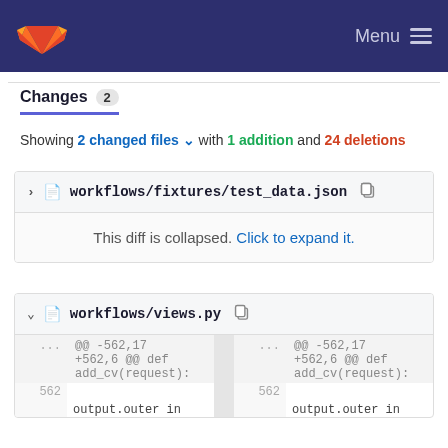GitLab logo | Menu
Changes 2
Showing 2 changed files with 1 addition and 24 deletions
workflows/fixtures/test_data.json
This diff is collapsed. Click to expand it.
workflows/views.py
| ... | @@ -562,17 +562,6 @@ def add_cv(request): | ... | @@ -562,17 +562,6 @@ def add_cv(request): |
| --- | --- | --- | --- |
| 562 |  | 562 |  |
|  | output.outer in |  | output.outer in |